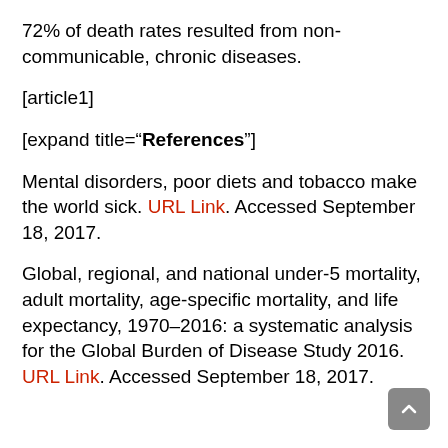72% of death rates resulted from non-communicable, chronic diseases.
[article1]
[expand title="References"]
Mental disorders, poor diets and tobacco make the world sick. URL Link. Accessed September 18, 2017.
Global, regional, and national under-5 mortality, adult mortality, age-specific mortality, and life expectancy, 1970–2016: a systematic analysis for the Global Burden of Disease Study 2016. URL Link. Accessed September 18, 2017.